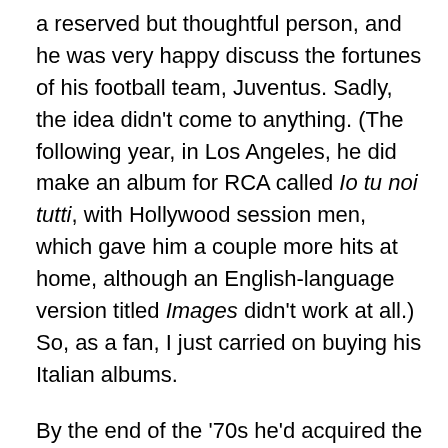a reserved but thoughtful person, and he was very happy discuss the fortunes of his football team, Juventus. Sadly, the idea didn't come to anything. (The following year, in Los Angeles, he did make an album for RCA called Io tu noi tutti, with Hollywood session men, which gave him a couple more hits at home, although an English-language version titled Images didn't work at all.) So, as a fan, I just carried on buying his Italian albums.
By the end of the '70s he'd acquired the habit of recording in London, with English producers, arrangers and musicians. For a while the records got lusher and more dependent on electric keyboards and synths, as you can hear in "Donna selvaggia donna" from the album Una donna per amico (1978) and "Il monolocale" from Una giornata uggiosa (1980), both produced by Geoff Westley with musicians like the guitarist Pip Williams, Phil Palmer...